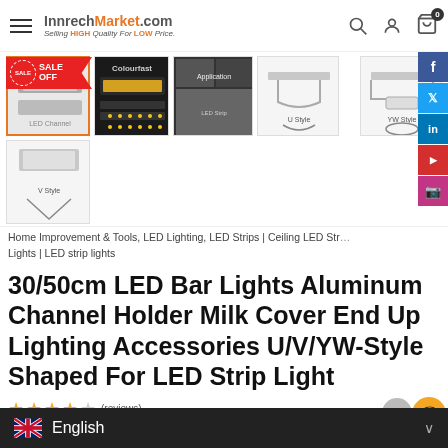InnrechMarket.com — Selling HIGH Quality For LOW Price.
[Figure (screenshot): E-commerce product page screenshot showing InnrechMarket.com header with logo, search icon, user icon, cart icon with badge 0, and a product thumbnail gallery for LED Bar Lights Aluminum Channel. Six product thumbnails shown in two rows including LED channel photos, colorful LED demo, application collage, U Style and YW Style diagrams, and one additional V Style image below.]
Home Improvement & Tools, LED Lighting, LED Strips | Ceiling LED Strip Lights | LED strip lights
30/50cm LED Bar Lights Aluminum Channel Holder Milk Cover End Up Lighting Accessories U/V/YW-Style Shaped For LED Strip Light
★★★★ (reviews)
English